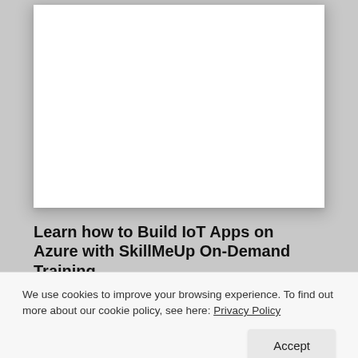[Figure (photo): White blank image area with drop shadow, representing a thumbnail or featured image placeholder for an article.]
Learn how to Build IoT Apps on Azure with SkillMeUp On-Demand Training
by Chris Pietschmann | Dec 26, 2018
We use cookies to improve your browsing experience. To find out more about our cookie policy, see here: Privacy Policy
Accept